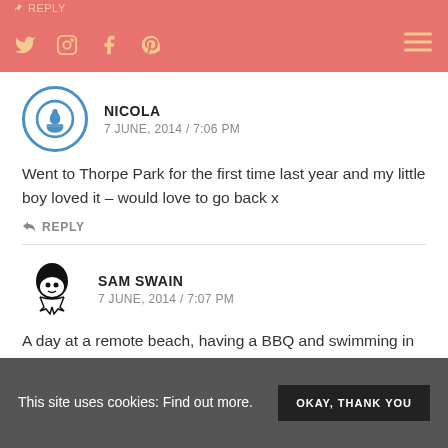REPLY (social icons: twitter, instagram, facebook, pinterest, hamburger menu)
NICOLA
7 JUNE, 2014 / 7:06 PM
Went to Thorpe Park for the first time last year and my little boy loved it – would love to go back x
↩ REPLY
SAM SWAIN
7 JUNE, 2014 / 7:07 PM
A day at a remote beach, having a BBQ and swimming in the sea
This site uses cookies: Find out more. OKAY, THANK YOU